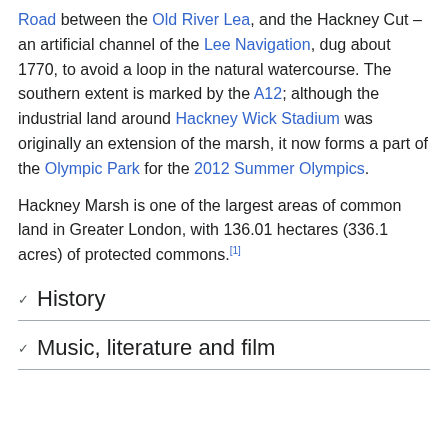Road between the Old River Lea, and the Hackney Cut – an artificial channel of the Lee Navigation, dug about 1770, to avoid a loop in the natural watercourse. The southern extent is marked by the A12; although the industrial land around Hackney Wick Stadium was originally an extension of the marsh, it now forms a part of the Olympic Park for the 2012 Summer Olympics.
Hackney Marsh is one of the largest areas of common land in Greater London, with 136.01 hectares (336.1 acres) of protected commons.[1]
History
Music, literature and film